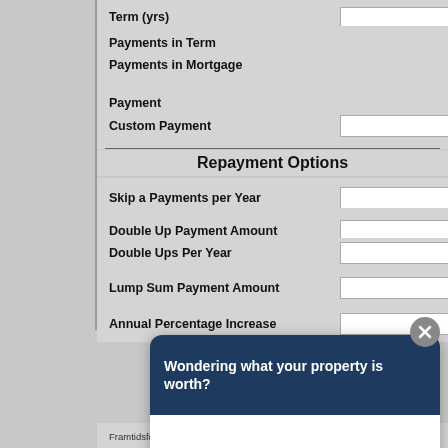Term (yrs)
Payments in Term
Payments in Mortgage
Payment
Custom Payment
Repayment Options
Skip a Payments per Year
Double Up Payment Amount
Double Ups Per Year
Lump Sum Payment Amount
Annual Percentage Increase
Wondering what your property is worth?
Write your message...
Framtidsforum I&M AB, SWEDEN.